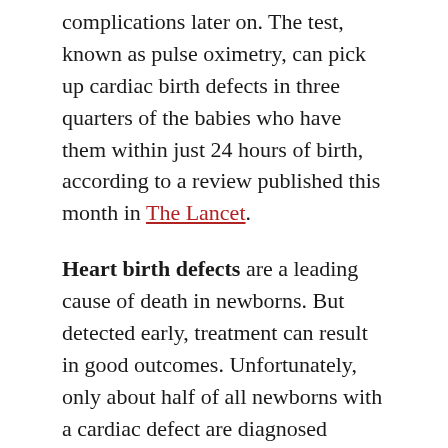complications later on. The test, known as pulse oximetry, can pick up cardiac birth defects in three quarters of the babies who have them within just 24 hours of birth, according to a review published this month in The Lancet.
Heart birth defects are a leading cause of death in newborns. But detected early, treatment can result in good outcomes. Unfortunately, only about half of all newborns with a cardiac defect are diagnosed before they leave the hospital.
Detecting Birth Defects
Pulse oximetry uses a sensor on the foot to measure blood oxygen levels, with measurements